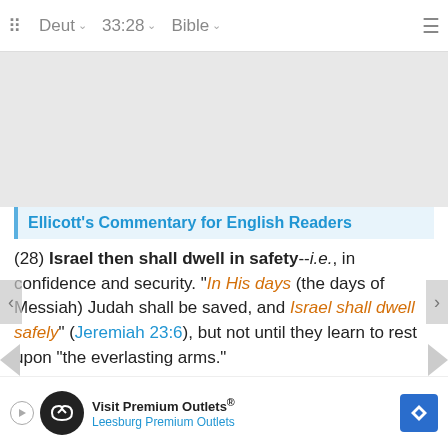Deut  33:28  Bible
Ellicott's Commentary for English Readers
(28) Israel then shall dwell in safety--i.e., in confidence and security. "In His days (the days of Messiah) Judah shall be saved, and Israel shall dwell safely" (Jeremiah 23:6), but not until they learn to rest upon "the everlasting arms."
Pulpit Commentary
Verse ... el to each ... nder and ...
[Figure (other): Advertisement overlay: Visit Premium Outlets® Leesburg Premium Outlets with logo and navigation icon]